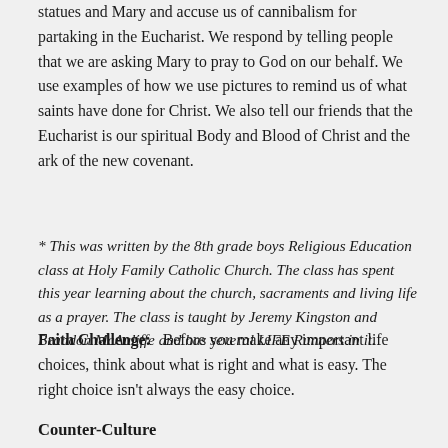statues and Mary and accuse us of cannibalism for partaking in the Eucharist. We respond by telling people that we are asking Mary to pray to God on our behalf. We use examples of how we use pictures to remind us of what saints have done for Christ. We also tell our friends that the Eucharist is our spiritual Body and Blood of Christ and the ark of the new covenant.
* This was written by the 8th grade boys Religious Education class at Holy Family Catholic Church. The class has spent this year learning about the church, sacraments and living life as a prayer. The class is taught by Jeremy Kingston and Brandon McAuliffe and has several LIFE Runners in it.
Faith Challenge:   Before you make any important life choices, think about what is right and what is easy. The right choice isn't always the easy choice.
Counter-Culture